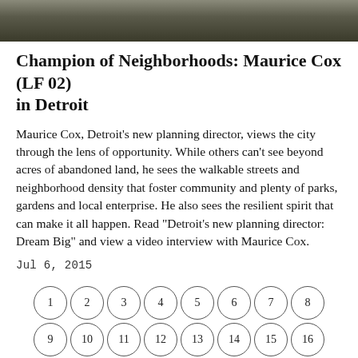[Figure (photo): Top portion of a photo showing people, cropped to show only the upper portion]
Champion of Neighborhoods: Maurice Cox (LF 02) in Detroit
Maurice Cox, Detroit’s new planning director, views the city through the lens of opportunity. While others can’t see beyond acres of abandoned land, he sees the walkable streets and neighborhood density that foster community and plenty of parks, gardens and local enterprise. He also sees the resilient spirit that can make it all happen. Read “Detroit’s new planning director: Dream Big” and view a video interview with Maurice Cox.
Jul 6, 2015
[Figure (other): Pagination navigation with numbered circles arranged in rows: row 1 (1-8), row 2 (9-16), row 3 (partially visible)]